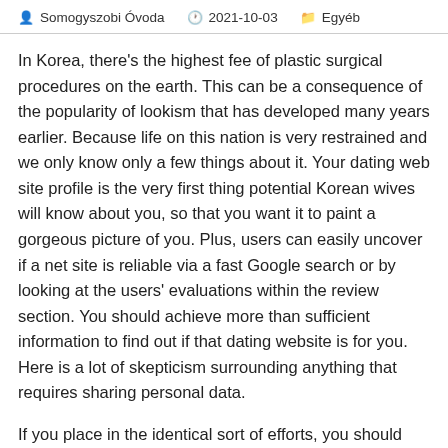Somogyszobi Óvoda   2021-10-03   Egyéb
In Korea, there's the highest fee of plastic surgical procedures on the earth. This can be a consequence of the popularity of lookism that has developed many years earlier. Because life on this nation is very restrained and we only know only a few things about it. Your dating web site profile is the very first thing potential Korean wives will know about you, so that you want it to paint a gorgeous picture of you. Plus, users can easily uncover if a net site is reliable via a fast Google search or by looking at the users' evaluations within the review section. You should achieve more than sufficient information to find out if that dating website is for you. Here is a lot of skepticism surrounding anything that requires sharing personal data.
If you place in the identical sort of efforts, you should have a wholesome and loving relationship. Without ignoring their troublesome lives, Yuh portrays these women's agency and